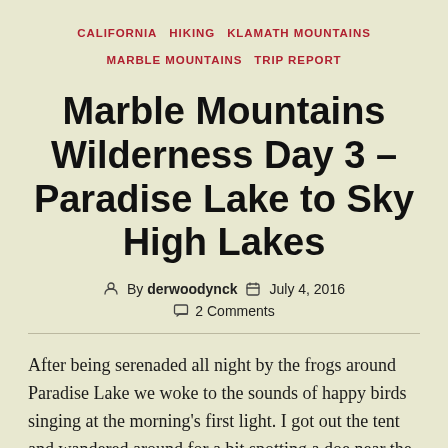CALIFORNIA  HIKING  KLAMATH MOUNTAINS  MARBLE MOUNTAINS  TRIP REPORT
Marble Mountains Wilderness Day 3 – Paradise Lake to Sky High Lakes
By derwoodynck  July 4, 2016  2 Comments
After being serenaded all night by the frogs around Paradise Lake we woke to the sounds of happy birds singing at the morning's first light. I got out the tent and wandered around for a bit spotting a doe near the